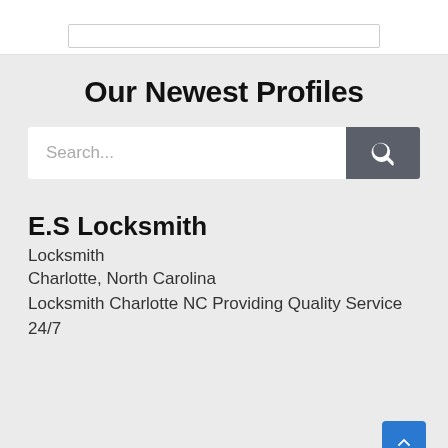Our Newest Profiles
[Figure (screenshot): Search input field with dark grey search button containing a magnifying glass icon]
E.S Locksmith
Locksmith
Charlotte, North Carolina
Locksmith Charlotte NC Providing Quality Service 24/7